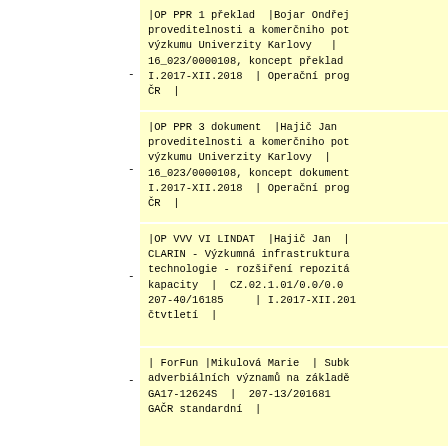|OP PPR 1 překlad |Bojar Ondřej proveditelnosti a komerčniho pot výzkumu Univerzity Karlovy | 16_023/0000108, koncept překlad I.2017-XII.2018 | Operační prog ČR |
|OP PPR 3 dokument |Hajič Jan proveditelnosti a komerčniho pot výzkumu Univerzity Karlovy | 16_023/0000108, koncept dokument I.2017-XII.2018 | Operační prog ČR |
|OP VVV VI LINDAT |Hajič Jan | CLARIN - Výzkumná infrastruktura technologie - rozšiření repozitá kapacity | CZ.02.1.01/0.0/0.0 207-40/16185 | I.2017-XII.201 čtvrtletí |
| ForFun |Mikulová Marie | Subk adverbiálních významů na základě GA17-12624S | 207-13/201681 GAČR standardní |